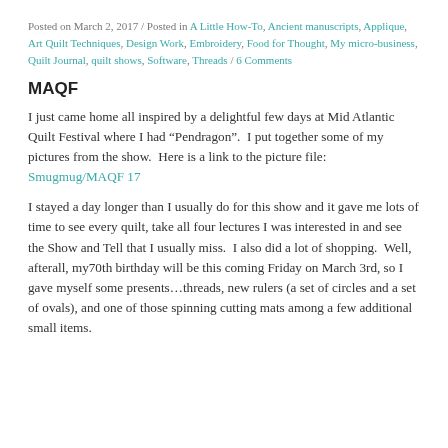Posted on March 2, 2017 / Posted in A Little How-To, Ancient manuscripts, Applique, Art Quilt Techniques, Design Work, Embroidery, Food for Thought, My micro-business, Quilt Journal, quilt shows, Software, Threads / 6 Comments
MAQF
I just came home all inspired by a delightful few days at Mid Atlantic Quilt Festival where I had “Pendragon”.  I put together some of my pictures from the show.  Here is a link to the picture file:  Smugmug/MAQF 17
I stayed a day longer than I usually do for this show and it gave me lots of time to see every quilt, take all four lectures I was interested in and see the Show and Tell that I usually miss.  I also did a lot of shopping.  Well, afterall, my70th birthday will be this coming Friday on March 3rd, so I gave myself some presents…threads, new rulers (a set of circles and a set of ovals), and one of those spinning cutting mats among a few additional small items.